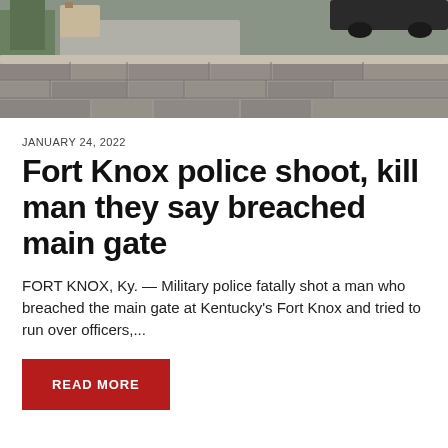[Figure (photo): Outdoor photograph showing a stone wall/gate structure at Fort Knox with a road and trees visible in the background, cropped at top]
JANUARY 24, 2022
Fort Knox police shoot, kill man they say breached main gate
FORT KNOX, Ky. — Military police fatally shot a man who breached the main gate at Kentucky's Fort Knox and tried to run over officers,...
READ MORE